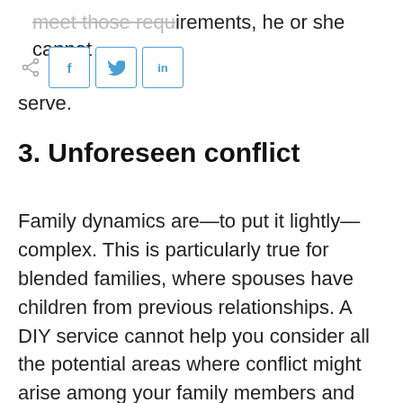meet those requirements, he or she cannot serve.
3. Unforeseen conflict
Family dynamics are—to put it lightly—complex. This is particularly true for blended families, where spouses have children from previous relationships. A DIY service cannot help you consider all the potential areas where conflict might arise among your family members and help you plan ahead of time to avoid it. When done right, the estate planning process is actually a huge opportunity to build new connections within